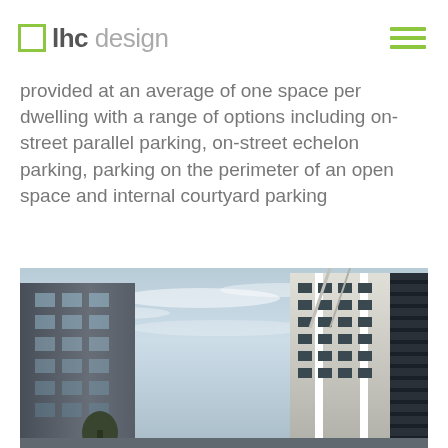lhc design
provided at an average of one space per dwelling with a range of options including on-street parallel parking, on-street echelon parking, parking on the perimeter of an open space and internal courtyard parking
[Figure (photo): Photograph of modern residential or mixed-use buildings shot from ground level looking up, showing building facades with large windows, white and dark cladding, louvers on the right building, and a bright blue sky with wispy clouds in the background.]